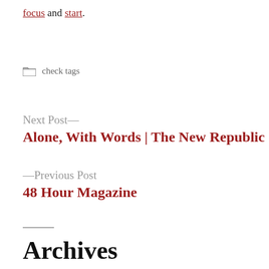focus and start.
check tags
Next Post—
Alone, With Words | The New Republic
—Previous Post
48 Hour Magazine
Archives